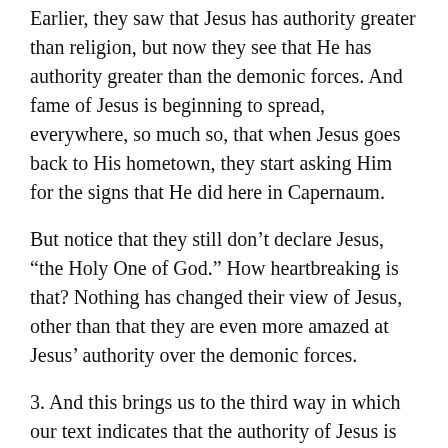Earlier, they saw that Jesus has authority greater than religion, but now they see that He has authority greater than the demonic forces. And fame of Jesus is beginning to spread, everywhere, so much so, that when Jesus goes back to His hometown, they start asking Him for the signs that He did here in Capernaum.
But notice that they still don’t declare Jesus, “the Holy One of God.” How heartbreaking is that? Nothing has changed their view of Jesus, other than that they are even more amazed at Jesus’ authority over the demonic forces.
3. And this brings us to the third way in which our text indicates that the authority of Jesus is greater, and that is, the authority of Jesus is greater than sickness.
Look at verse 29. “And immediately he left the synagogue and entered the house of Simon and Andrew,